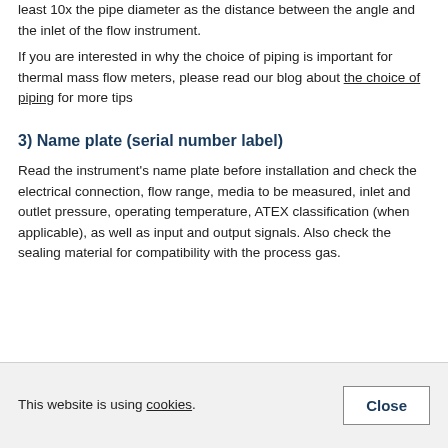least 10x the pipe diameter as the distance between the angle and the inlet of the flow instrument.
If you are interested in why the choice of piping is important for thermal mass flow meters, please read our blog about the choice of piping for more tips
3) Name plate (serial number label)
Read the instrument's name plate before installation and check the electrical connection, flow range, media to be measured, inlet and outlet pressure, operating temperature, ATEX classification (when applicable), as well as input and output signals. Also check the sealing material for compatibility with the process gas.
This website is using cookies. Close